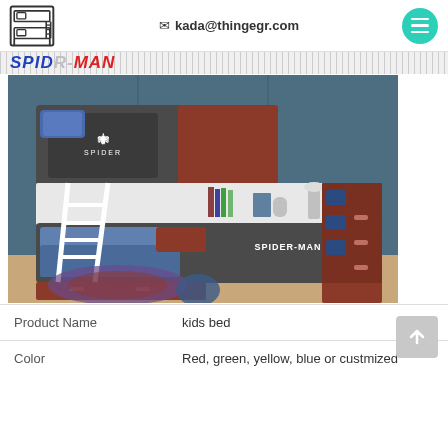kada@thingegr.com
[Figure (photo): Spider-Man themed kids bunk bed with ladder, storage stairs, shelves, and drawers, in dark grey and red/brown color scheme, with blue bedding]
| Product Name | kids bed |
| Color | Red, green, yellow, blue or custmized |